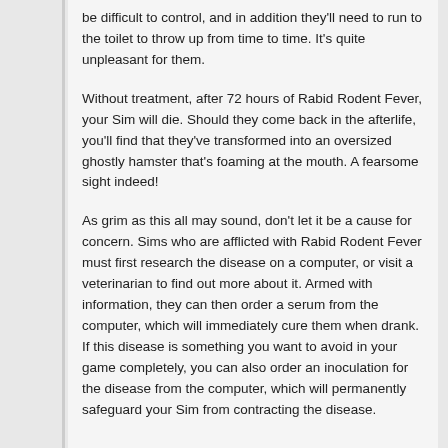be difficult to control, and in addition they'll need to run to the toilet to throw up from time to time. It's quite unpleasant for them.
Without treatment, after 72 hours of Rabid Rodent Fever, your Sim will die. Should they come back in the afterlife, you'll find that they've transformed into an oversized ghostly hamster that's foaming at the mouth. A fearsome sight indeed!
As grim as this all may sound, don't let it be a cause for concern. Sims who are afflicted with Rabid Rodent Fever must first research the disease on a computer, or visit a veterinarian to find out more about it. Armed with information, they can then order a serum from the computer, which will immediately cure them when drank. If this disease is something you want to avoid in your game completely, you can also order an inoculation for the disease from the computer, which will permanently safeguard your Sim from contracting the disease.